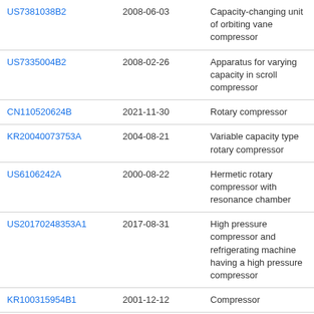| Patent | Date | Title |
| --- | --- | --- |
| US7381038B2 | 2008-06-03 | Capacity-changing unit of orbiting vane compressor |
| US7335004B2 | 2008-02-26 | Apparatus for varying capacity in scroll compressor |
| CN110520624B | 2021-11-30 | Rotary compressor |
| KR20040073753A | 2004-08-21 | Variable capacity type rotary compressor |
| US6106242A | 2000-08-22 | Hermetic rotary compressor with resonance chamber |
| US20170248353A1 | 2017-08-31 | High pressure compressor and refrigerating machine having a high pressure compressor |
| KR100315954B1 | 2001-12-12 | Compressor |
| KR100531278B1 | 2005-11-28 | Rotary Type Compressor |